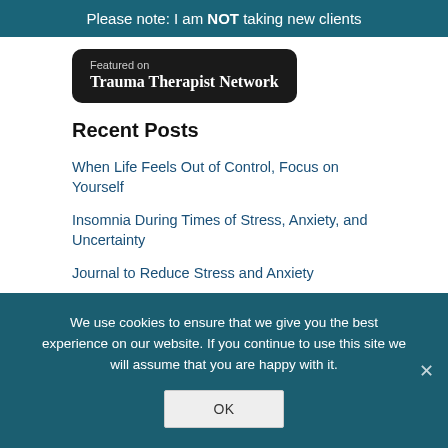Please note: I am NOT taking new clients
[Figure (logo): Featured on Trauma Therapist Network badge, dark rounded rectangle with white text]
Recent Posts
When Life Feels Out of Control, Focus on Yourself
Insomnia During Times of Stress, Anxiety, and Uncertainty
Journal to Reduce Stress and Anxiety
End Self-Criticism and Learn Self-Acceptance
What Every Adult Child of an Alcoholic Needs to Know About Self-Worth
We use cookies to ensure that we give you the best experience on our website. If you continue to use this site we will assume that you are happy with it.